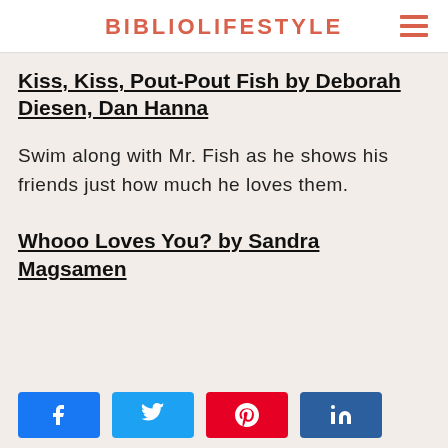BIBLIOLIFESTYLE
Kiss, Kiss, Pout-Pout Fish by Deborah Diesen, Dan Hanna
Swim along with Mr. Fish as he shows his friends just how much he loves them.
Whooo Loves You? by Sandra Magsamen
[Figure (other): Social share buttons: Facebook, Twitter, Pinterest, LinkedIn]